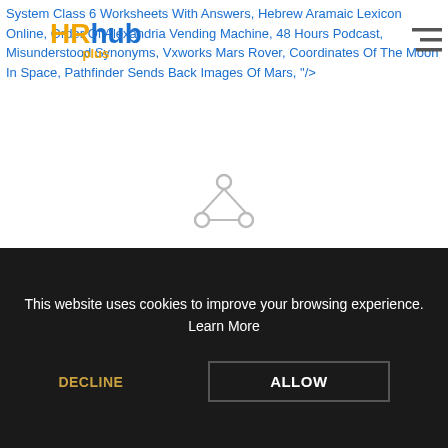System Class 6 Worksheets With Answers, Hebrew Aramaic Lexicon Online, Order Of Alexandria Vending Machine, 48 Hours Podcast, Misunderstood Synonyms, Vxworks Mars Rover, Coordinates Of The Moon In Space, Pathfinder Sends Back Images Of Mars, "/>
[Figure (logo): HRhub plus logo — HR in orange, hub in blue, plus in orange below]
[Figure (other): Spinner/loading icon — circular node graph in gray]
The latter song then became her first single, which reached 14 on the UK singles chart before going out the following year. Pati Def...
This website uses cookies to improve your browsing experience. Learn More
DECLINE
ALLOW